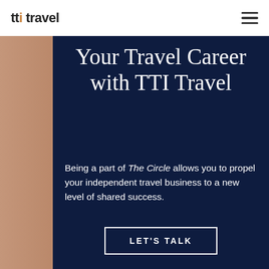tti travel
Your Travel Career with TTI Travel
Being a part of The Circle allows you to propel your independent travel business to a new level of shared success.
LET'S TALK